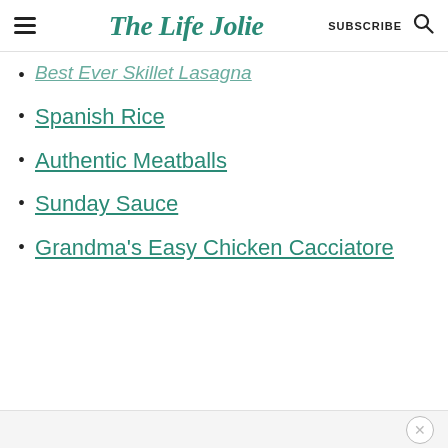The Life Jolie — SUBSCRIBE
Best Ever Skillet Lasagna (partial, cut off at top)
Spanish Rice
Authentic Meatballs
Sunday Sauce
Grandma's Easy Chicken Cacciatore